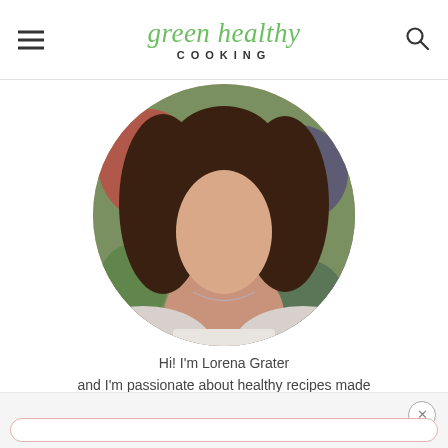green healthy COOKING
[Figure (photo): Circular cropped portrait photo of Lorena Grater, a woman with long brown hair, wearing a necklace, photographed in front of colorful produce]
Hi! I'm Lorena Grater and I'm passionate about healthy recipes made with clean ingredients!
Find out more about me!